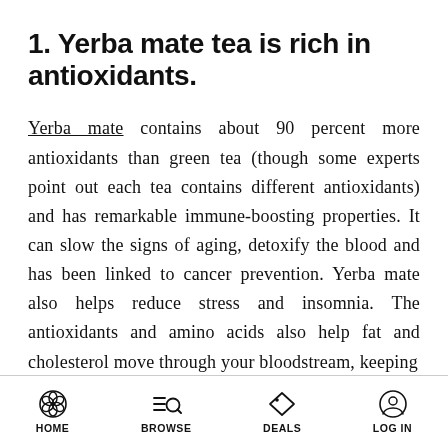1. Yerba mate tea is rich in antioxidants.
Yerba mate contains about 90 percent more antioxidants than green tea (though some experts point out each tea contains different antioxidants) and has remarkable immune-boosting properties. It can slow the signs of aging, detoxify the blood and has been linked to cancer prevention. Yerba mate also helps reduce stress and insomnia. The antioxidants and amino acids also help fat and cholesterol move through your bloodstream, keeping
HOME  BROWSE  DEALS  LOG IN